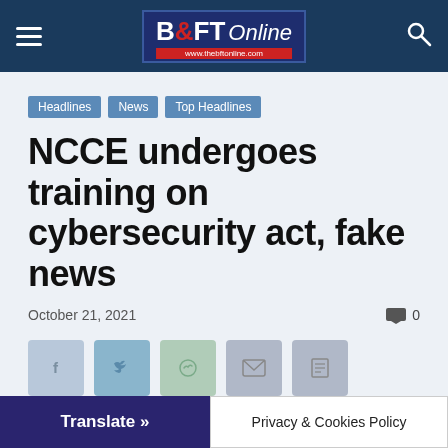B&FT Online — www.thebftonline.com
Headlines
News
Top Headlines
NCCE undergoes training on cybersecurity act, fake news
October 21, 2021
0
Translate »
Privacy & Cookies Policy